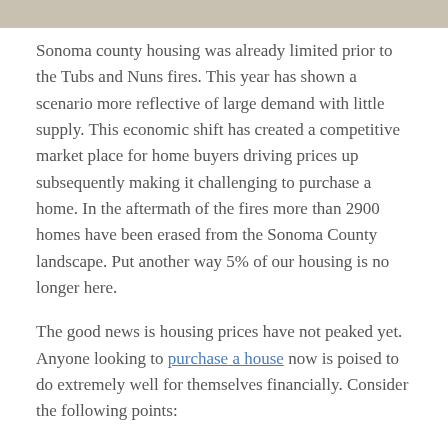[Figure (photo): Partial image strip at top of page, appears to be a photo (building or landscape), cropped to a narrow horizontal band.]
Sonoma county housing was already limited prior to the Tubs and Nuns fires. This year has shown a scenario more reflective of large demand with little supply. This economic shift has created a competitive market place for home buyers driving prices up subsequently making it challenging to purchase a home. In the aftermath of the fires more than 2900 homes have been erased from the Sonoma County landscape. Put another way 5% of our housing is no longer here.
The good news is housing prices have not peaked yet. Anyone looking to purchase a house now is poised to do extremely well for themselves financially. Consider the following points:
Homeowners who have lost homes-many will